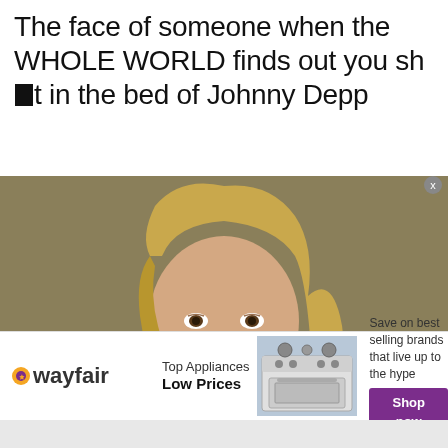The face of someone when the WHOLE WORLD finds out you sh*t in the bed of Johnny Depp
[Figure (photo): Close-up photo of a blonde woman with a somber, downcast expression, appearing to be in a courtroom setting with a tan/olive background]
[Figure (infographic): Wayfair advertisement banner: wayfair logo on left, 'Top Appliances Low Prices' text, image of a stove/range appliance, and 'Save on best selling brands that live up to the hype' with a purple 'Shop now' button]